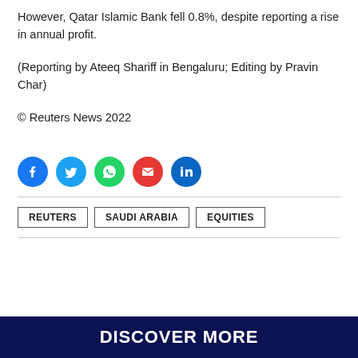However, Qatar Islamic Bank fell 0.8%, despite reporting a rise in annual profit.
(Reporting by Ateeq Shariff in Bengaluru; Editing by Pravin Char)
© Reuters News 2022
[Figure (infographic): Social sharing icons: Facebook (blue circle), Twitter (blue circle), WhatsApp (green circle), Email (red circle), LinkedIn (blue circle)]
REUTERS   SAUDI ARABIA   EQUITIES
DISCOVER MORE